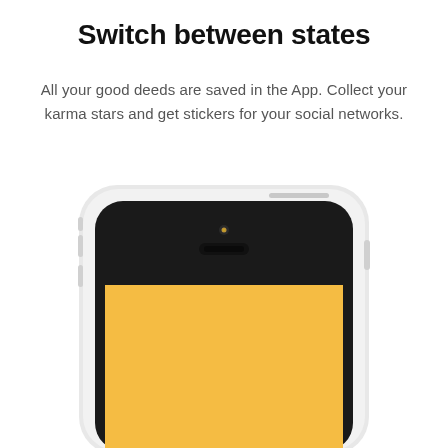Switch between states
All your good deeds are saved in the App. Collect your karma stars and get stickers for your social networks.
[Figure (illustration): Illustration of the top portion of a white smartphone (iPhone-style) with a black bezel, yellow/amber app screen visible at the bottom, front-facing camera dot and speaker grille visible on the top bezel area.]